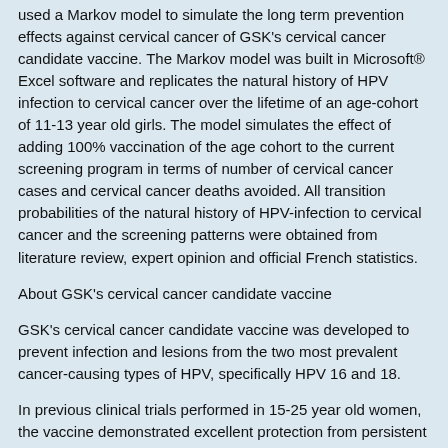used a Markov model to simulate the long term prevention effects against cervical cancer of GSK's cervical cancer candidate vaccine. The Markov model was built in Microsoft® Excel software and replicates the natural history of HPV infection to cervical cancer over the lifetime of an age-cohort of 11-13 year old girls. The model simulates the effect of adding 100% vaccination of the age cohort to the current screening program in terms of number of cervical cancer cases and cervical cancer deaths avoided. All transition probabilities of the natural history of HPV-infection to cervical cancer and the screening patterns were obtained from literature review, expert opinion and official French statistics.
About GSK's cervical cancer candidate vaccine
GSK's cervical cancer candidate vaccine was developed to prevent infection and lesions from the two most prevalent cancer-causing types of HPV, specifically HPV 16 and 18.
In previous clinical trials performed in 15-25 year old women, the vaccine demonstrated excellent protection from persistent infection against both HPV 16 and 18, associated precancerous lesions and excellent antibody response up to 4.5 years. GSK's cervical cancer candidate vaccine is formulated with the proprietary adjuvant AS04 selected to ensure that it confers high and sustained antibody levels. In addition, preliminary data regarding GSK's cervical cancer candidate vaccine has been shown to provide substantial protection against infection with the third and fourth